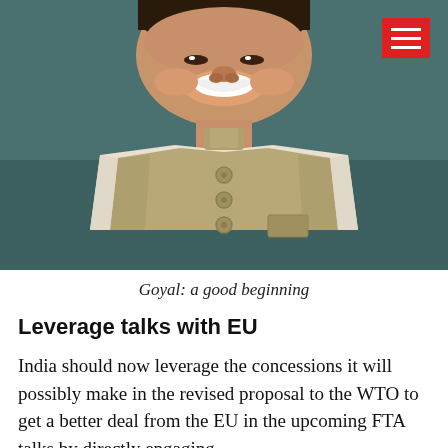[Figure (photo): Smiling man in a traditional Indian khaki Nehru jacket with buttons, laughing broadly, seated indoors against a dark teal background. A red hamburger menu icon is visible in the top-right corner.]
Goyal: a good beginning
Leverage talks with EU
India should now leverage the concessions it will possibly make in the revised proposal to the WTO to get a better deal from the EU in the upcoming FTA talks by directly engaging